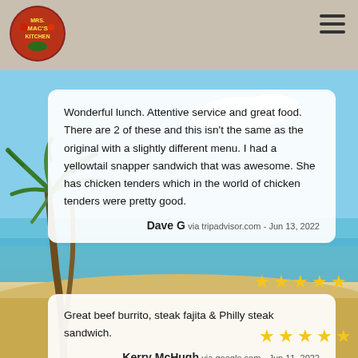[Figure (logo): Mrs. Mac's Kitchen restaurant logo - circular emblem with tropical theme]
Wonderful lunch. Attentive service and great food. There are 2 of these and this isn't the same as the original with a slightly different menu. I had a yellowtail snapper sandwich that was awesome. She has chicken tenders which in the world of chicken tenders were pretty good.

Dave G via tripadvisor.com - Jun 13, 2022
[Figure (other): Five gold star rating]
Great beef burrito, steak fajita & Philly steak sandwich.

Kerry McHugh via google.com - Jun 11, 2022
[Figure (other): Five gold star rating]